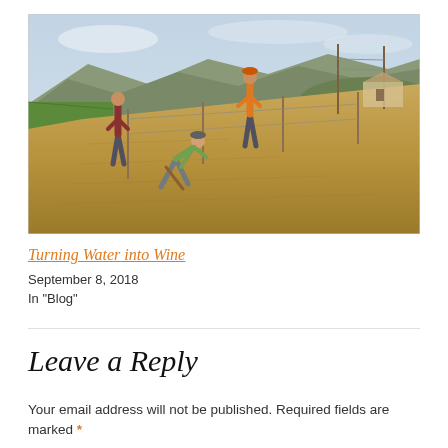[Figure (photo): Three people working in a vineyard field on a hillside. Two stand watching while one bends over working the soil. Mountains and a building visible in background. Sandy/dry soil slope with wooden stakes.]
Turning Water into Wine
September 8, 2018
In "Blog"
Leave a Reply
Your email address will not be published. Required fields are marked *